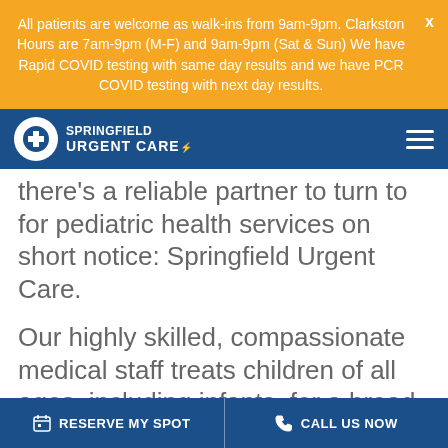All patients are welcome as walk-ins from 9am-9pm. Clarkston Hours are 7am-9pm (M-F) and 9am-9pm (Sat & Sun) We have Rapid COVID testing with same day results and we have PCR COVID testing with next day results.
[Figure (logo): Springfield Urgent Care logo with white cross on dark blue circle and heartbeat line]
there's a reliable partner to turn to for pediatric health services on short notice: Springfield Urgent Care.
Our highly skilled, compassionate medical staff treats children of all ages, including infants, for a broad array of non-life-threatening illnesses and injuries. We also offer routine children's health
RESERVE MY SPOT   CALL US NOW